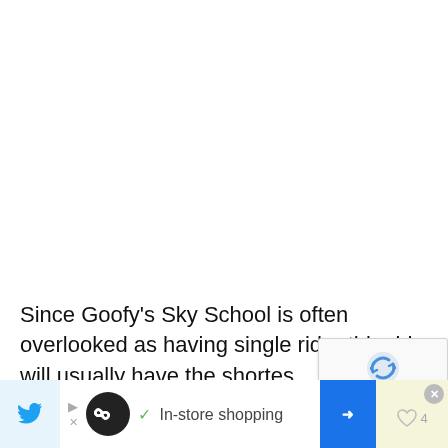Since Goofy's Sky School is often overlooked as having single rider this ride will usually have the shortest single rider wait times. In our experience we've walked on using single rider with this ride when the standby
[Figure (other): reCAPTCHA widget overlay showing robot/human verification icon with Privacy and Terms links]
[Figure (other): Mobile advertisement banner at bottom with Twitter icon on left, Loopd/In-store shopping ad in center, navigation arrow icon, heart/like button with count 4, and close X button]